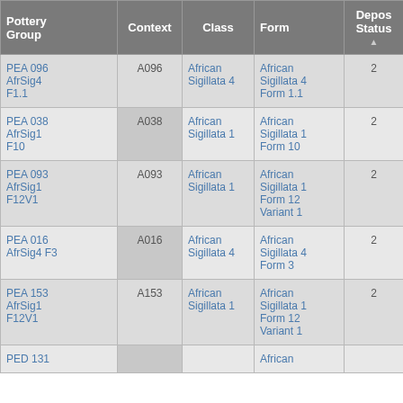| Pottery Group | Context | Class | Form | Depos Status | R Ct | R EV |
| --- | --- | --- | --- | --- | --- | --- |
| PEA 096 AfrSig4 F1.1 | A096 | African Sigillata 4 | African Sigillata 4 Form 1.1 | 2 | 2 | 2 |
| PEA 038 AfrSig1 F10 | A038 | African Sigillata 1 | African Sigillata 1 Form 10 | 2 | 1 | 1 |
| PEA 093 AfrSig1 F12V1 | A093 | African Sigillata 1 | African Sigillata 1 Form 12 Variant 1 | 2 | 2 | 2 |
| PEA 016 AfrSig4 F3 | A016 | African Sigillata 4 | African Sigillata 4 Form 3 | 2 | 2 | 2 |
| PEA 153 AfrSig1 F12V1 | A153 | African Sigillata 1 | African Sigillata 1 Form 12 Variant 1 | 2 | 1 | 1 |
| PED 131 |  |  | African |  |  |  |